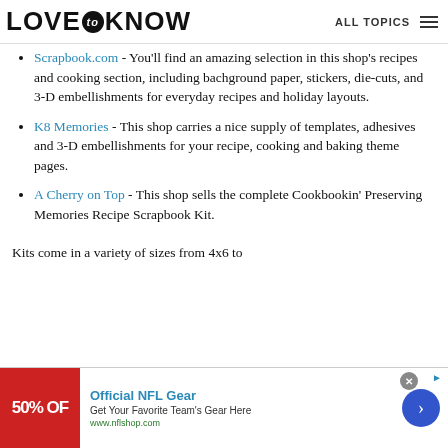LOVE to KNOW  ALL TOPICS
Scrapbook.com - You'll find an amazing selection in this shop's recipes and cooking section, including bachground paper, stickers, die-cuts, and 3-D embellishments for everyday recipes and holiday layouts.
K8 Memories - This shop carries a nice supply of templates, adhesives and 3-D embellishments for your recipe, cooking and baking theme pages.
A Cherry on Top - This shop sells the complete Cookbookin' Preserving Memories Recipe Scrapbook Kit.
Kits come in a variety of sizes from 4x6 to
[Figure (screenshot): Advertisement banner: Official NFL Gear - Get Your Favorite Team's Gear Here, www.nflshop.com, with 50% OFF red background image and blue arrow button]